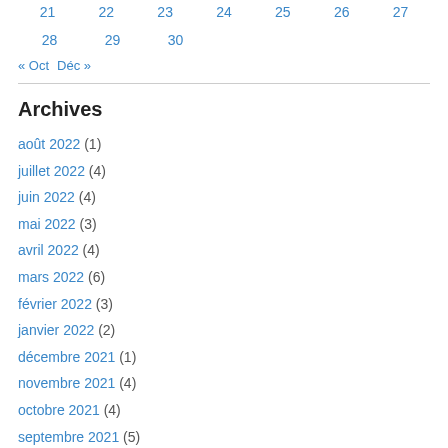21   22   23   24   25   26   27
28   29   30
« Oct   Déc »
Archives
août 2022 (1)
juillet 2022 (4)
juin 2022 (4)
mai 2022 (3)
avril 2022 (4)
mars 2022 (6)
février 2022 (3)
janvier 2022 (2)
décembre 2021 (1)
novembre 2021 (4)
octobre 2021 (4)
septembre 2021 (5)
août 2021 (2)